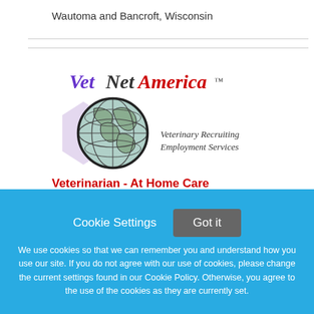Wautoma and Bancroft, Wisconsin
[Figure (logo): VetNetAmerica logo with globe graphic and text 'Veterinary Recruiting Employment Services']
Veterinarian - At Home Care
Cookie Settings  Got it
We use cookies so that we can remember you and understand how you use our site. If you do not agree with our use of cookies, please change the current settings found in our Cookie Policy. Otherwise, you agree to the use of the cookies as they are currently set.